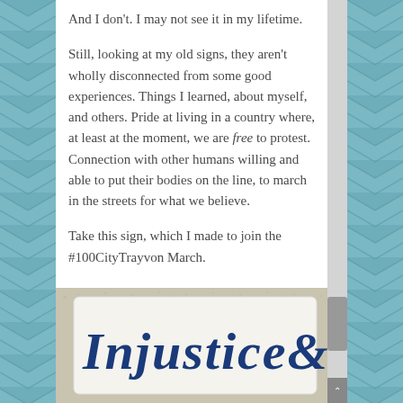And I don’t. I may not see it in my lifetime.
Still, looking at my old signs, they aren’t wholly disconnected from some good experiences. Things I learned, about myself, and others. Pride at living in a country where, at least at the moment, we are free to protest. Connection with other humans willing and able to put their bodies on the line, to march in the streets for what we believe.
Take this sign, which I made to join the #100CityTrayvon March.
[Figure (photo): A handmade protest sign with blue hand-lettered text reading 'Injustice&' on a white background, photographed on a textured surface.]